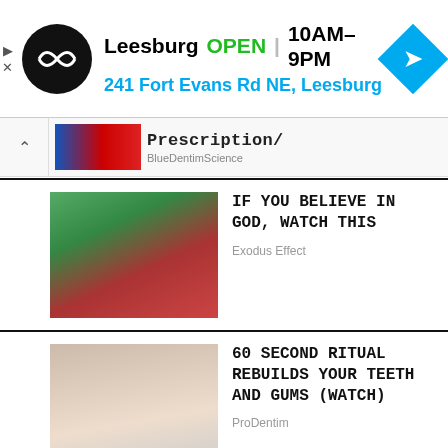[Figure (screenshot): Store locator ad banner: circular black logo with arrow icon, text 'Leesburg OPEN | 10AM-9PM' and '241 Fort Evans Rd NE, Leesburg', blue navigation diamond icon on right]
[Figure (screenshot): Collapsed advertisement row with chevron up button, partial image with blue/red colors, and text 'Prescription/' with source 'BlueDentimScience']
[Figure (photo): Hands holding rambutan fruit]
IF YOU BELIEVE IN GOD, WATCH THIS
Exodus Effect
[Figure (photo): Elderly smiling woman]
60 SECOND RITUAL REBUILDS YOUR TEETH AND GUMS (WATCH)
ProDentim
[Figure (photo): Water bottle with measuring tape]
NEW TYPE OF WATER HELPS YOU LOSE WEIGHT NATURALLY! WATCH NOW!
Weight Loss
[Figure (photo): Partially visible image at bottom]
15 BEST DOG BREEDS...